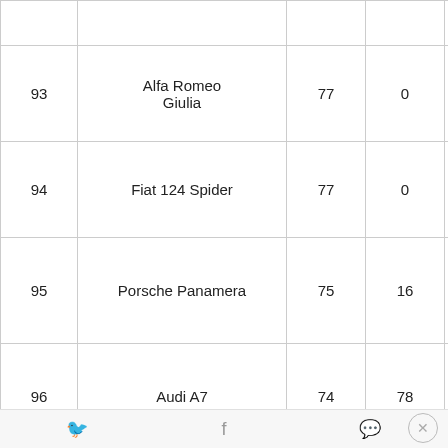| # | Model | 2017 | 2016 | % Change |
| --- | --- | --- | --- | --- |
|  |  |  |  | -4% |
| 93 | Alfa Romeo Giulia | 77 | 0 | 0.0% |
| 94 | Fiat 124 Spider | 77 | 0 | 0.0% |
| 95 | Porsche Panamera | 75 | 16 | 368.8% |
| 96 | Audi A7 | 74 | 78 | -5.1% |
| 97 | Buick LaCrosse | 70 | 130 | -46.2% |